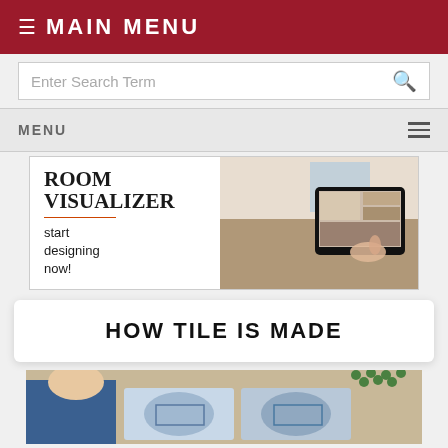≡ MAIN MENU
Enter Search Term
MENU
[Figure (screenshot): Room Visualizer advertisement banner showing text 'ROOM VISUALIZER start designing now!' on the left with an orange underline, and a tablet device displaying a room design app on the right]
HOW TILE IS MADE
[Figure (photo): Photo showing a person in blue working with decorative tiles featuring a blue and white floral/bird pattern]